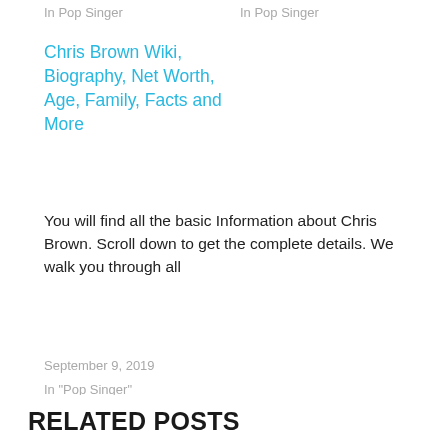In  Pop Singer
In  Pop Singer
Chris Brown Wiki, Biography, Net Worth, Age, Family, Facts and More
You will find all the basic Information about Chris Brown.  Scroll down to get the complete details.  We walk you through all
September 9, 2019
In "Pop Singer"
[Figure (infographic): Social media share buttons: Facebook (dark blue, wide), Google+ (orange-red), Twitter (light blue), Reddit (grey-blue), Pinterest (red), StumbleUpon (orange), Email (blue)]
RELATED POSTS